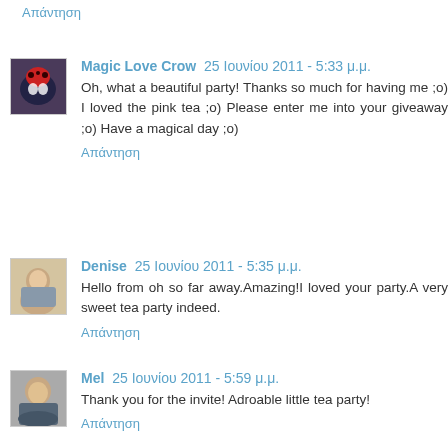Απάντηση
Magic Love Crow 25 Ιουνίου 2011 - 5:33 μ.μ.
Oh, what a beautiful party! Thanks so much for having me ;o) I loved the pink tea ;o) Please enter me into your giveaway ;o) Have a magical day ;o)
Απάντηση
Denise 25 Ιουνίου 2011 - 5:35 μ.μ.
Hello from oh so far away.Amazing!I loved your party.A very sweet tea party indeed.
Απάντηση
Mel 25 Ιουνίου 2011 - 5:59 μ.μ.
Thank you for the invite! Adroable little tea party!
Απάντηση